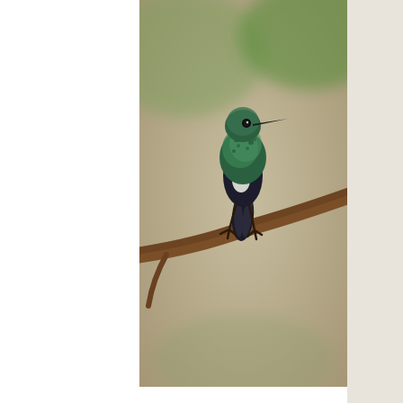[Figure (photo): A hummingbird with iridescent green plumage perched on a brown branch, with blurred green foliage in background]
waldensportsmenscl ▲ Aug 8, 2019 · 1 min
10 bird species you never knew
Create a blog post subtitle that summarizes your post in a few short, punchy sentences and entices your audience to continue reading. Welcome